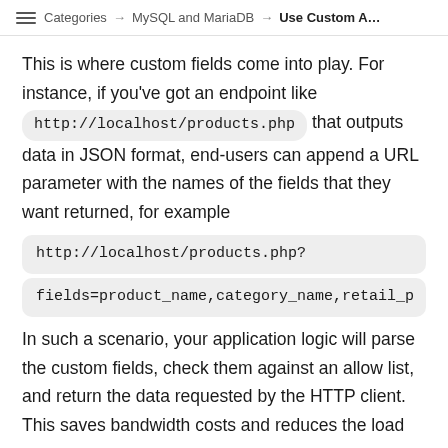Categories → MySQL and MariaDB → Use Custom A…
This is where custom fields come into play. For instance, if you've got an endpoint like http://localhost/products.php that outputs data in JSON format, end-users can append a URL parameter with the names of the fields that they want returned, for example http://localhost/products.php?fields=product_name,category_name,retail_p
In such a scenario, your application logic will parse the custom fields, check them against an allow list, and return the data requested by the HTTP client. This saves bandwidth costs and reduces the load